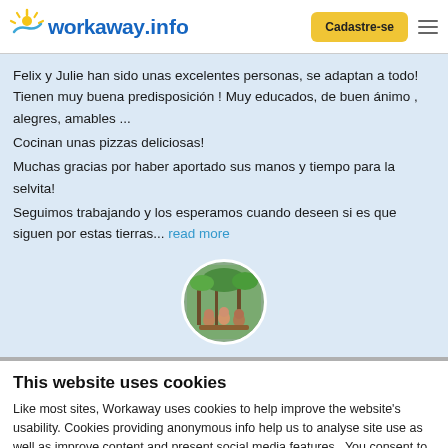workaway.info | Cadastre-se
Felix y Julie han sido unas excelentes personas, se adaptan a todo! Tienen muy buena predisposición ! Muy educados, de buen ánimo , alegres, amables ...
Cocinan unas pizzas deliciosas!
Muchas gracias por haber aportado sus manos y tiempo para la selvita!
Seguimos trabajando y los esperamos cuando deseen si es que siguen por estas tierras... read more
[Figure (photo): Circular profile photo of a group of people outdoors]
This website uses cookies
Like most sites, Workaway uses cookies to help improve the website's usability. Cookies providing anonymous info help us to analyse site use as well as improve content and present social media features.  You consent to our cookies if you continue to use our website.
OK | Settings